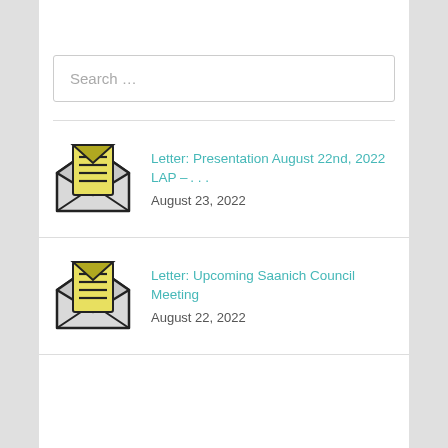Search …
Letter: Presentation August 22nd, 2022 LAP – …
August 23, 2022
Letter: Upcoming Saanich Council Meeting
August 22, 2022